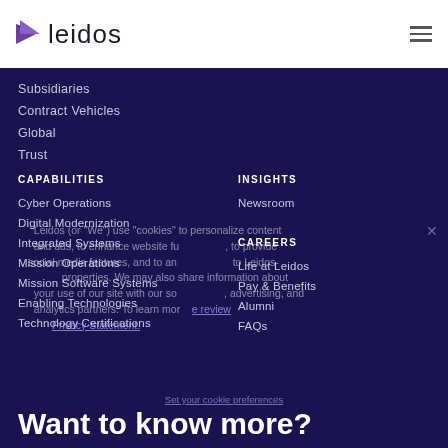[Figure (logo): Leidos logo with purple arrow triangle and 'leidos' wordmark]
Subsidiaries
Contract Vehicles
Global
Trust
CAPABILITIES
Cyber Operations
Digital Modernization
Integrated Systems
Mission Operations
Mission Software Systems
Enabling Technologies
Technology Certifications
INSIGHTS
Newsroom
CAREERS
Life at Leidos
Pay & Benefits
Alumni
FAQs
Leidos (or "We") use "cookies" to personalize content and ads, to enhance website functionality, to provide social media features, and to analyze traffic to Leidos-owned properties. We may also share information about your use of our site with our social media, advertising, and analytics partners. To learn more, review our Privacy Statement.
Set your cookie preferences
Want to know more?